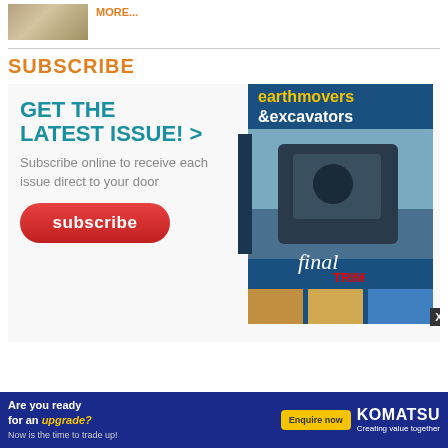[Figure (photo): Small thumbnail photo of a construction/earthmoving site with sandy terrain]
MORE...
SUBSCRIBE
[Figure (infographic): Subscribe banner: GET THE LATEST ISSUE! > with subscribe button and earthmovers & excavators magazine cover]
[Figure (infographic): Komatsu advertisement banner: Are you ready for an upgrade? Enquire now. KOMATSU Creating value together]